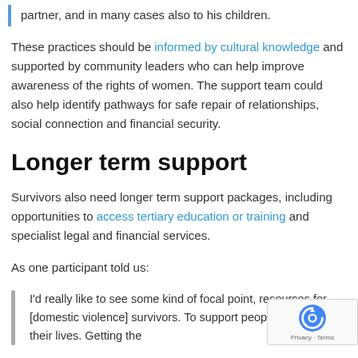partner, and in many cases also to his children.
These practices should be informed by cultural knowledge and supported by community leaders who can help improve awareness of the rights of women. The support team could also help identify pathways for safe repair of relationships, social connection and financial security.
Longer term support
Survivors also need longer term support packages, including opportunities to access tertiary education or training and specialist legal and financial services.
As one participant told us:
I'd really like to see some kind of focal point, resources for [domestic violence] survivors. To support people to rebuild their lives. Getting the